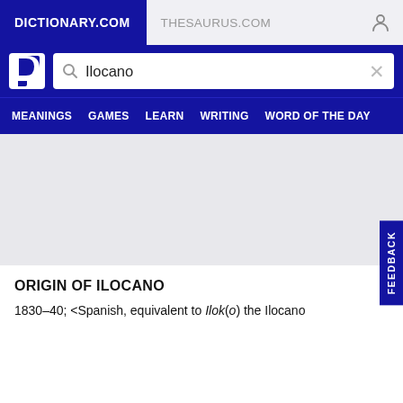DICTIONARY.COM | THESAURUS.COM
[Figure (screenshot): Dictionary.com website header with search bar showing 'Ilocano' and navigation menu with MEANINGS, GAMES, LEARN, WRITING, WORD OF THE DAY]
ORIGIN OF ILOCANO
1830–40; <Spanish, equivalent to Ilok(o) the Ilocano